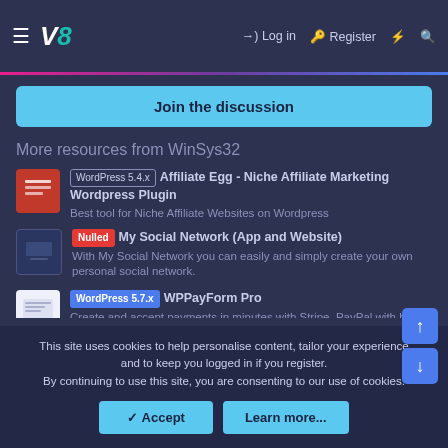WinSys32 — Log in | Register
Join the discussion
More resources from WinSys32
[WordPress 5.4.x] Affiliate Egg - Niche Affiliate Marketing Wordpress Plugin — Best tool for Niche Affiliate Websites on Wordpress
[Nulled] My Social Network (App and Website) — With My Social Network you can easily and simply create your own personal social network.
[WordPress 5.7.x] WPPayForm Pro — Create and accept payments in minutes with Stripe, PayPal with built-in form builder.
This site uses cookies to help personalise content, tailor your experience and to keep you logged in if you register. By continuing to use this site, you are consenting to our use of cookies.
Accept | Learn more...